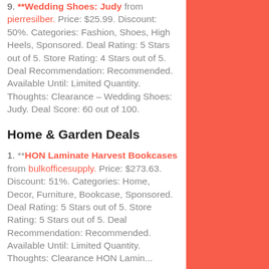9. **Wedding Shoes: Judy from pierresilber. Price: $25.99. Discount: 50%. Categories: Fashion, Shoes, High Heels, Sponsored. Deal Rating: 5 Stars out of 5. Store Rating: 4 Stars out of 5. Deal Recommendation: Recommended. Available Until: Limited Quantity. Thoughts: Clearance – Wedding Shoes: Judy. Deal Score: 60 out of 100.
Home & Garden Deals
1. **HON Laminate Harvest Bookcases from bulkofficesupply. Price: $273.63. Discount: 51%. Categories: Home, Decor, Furniture, Bookcase, Sponsored. Deal Rating: 5 Stars out of 5. Store Rating: 5 Stars out of 5. Deal Recommendation: Recommended. Available Until: Limited Quantity. Thoughts: Clearance HON Laminate...